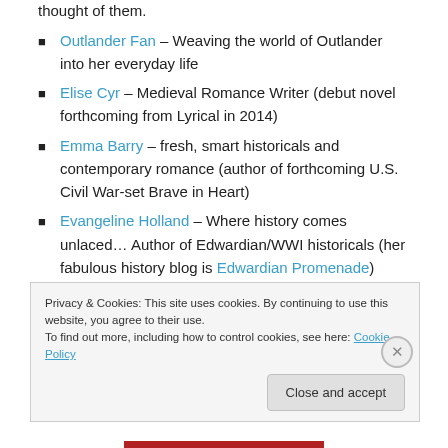thought of them.
Outlander Fan – Weaving the world of Outlander into her everyday life
Elise Cyr – Medieval Romance Writer (debut novel forthcoming from Lyrical in 2014)
Emma Barry – fresh, smart historicals and contemporary romance (author of forthcoming U.S. Civil War-set Brave in Heart)
Evangeline Holland – Where history comes unlaced… Author of Edwardian/WWI historicals (her fabulous history blog is Edwardian Promenade)
Privacy & Cookies: This site uses cookies. By continuing to use this website, you agree to their use.
To find out more, including how to control cookies, see here: Cookie Policy
Close and accept